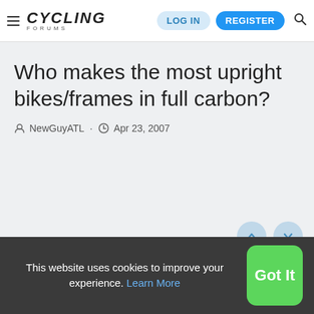Cycling Forums — LOG IN  REGISTER
Who makes the most upright bikes/frames in full carbon?
NewGuyATL · Apr 23, 2007
This website uses cookies to improve your experience. Learn More